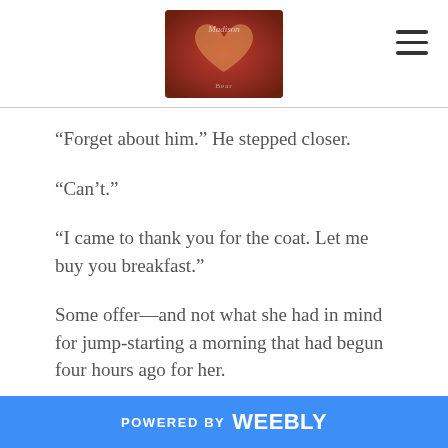[Logo: Madison Bear] [hamburger menu icon]
“Forget about him.” He stepped closer.
“Can’t.”
“I came to thank you for the coat. Let me buy you breakfast.”
Some offer—and not what she had in mind for jump-starting a morning that had begun four hours ago for her.
“It’s not my coat,” she said.
“We’ll find the owner and thank him—later. We have
POWERED BY weebly